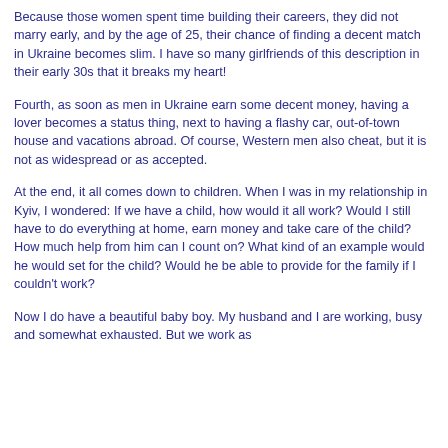Because those women spent time building their careers, they did not marry early, and by the age of 25, their chance of finding a decent match in Ukraine becomes slim. I have so many girlfriends of this description in their early 30s that it breaks my heart!
Fourth, as soon as men in Ukraine earn some decent money, having a lover becomes a status thing, next to having a flashy car, out-of-town house and vacations abroad. Of course, Western men also cheat, but it is not as widespread or as accepted.
At the end, it all comes down to children. When I was in my relationship in Kyiv, I wondered: If we have a child, how would it all work? Would I still have to do everything at home, earn money and take care of the child? How much help from him can I count on? What kind of an example would he would set for the child? Would he be able to provide for the family if I couldn't work?
Now I do have a beautiful baby boy. My husband and I are working, busy and somewhat exhausted. But we work as